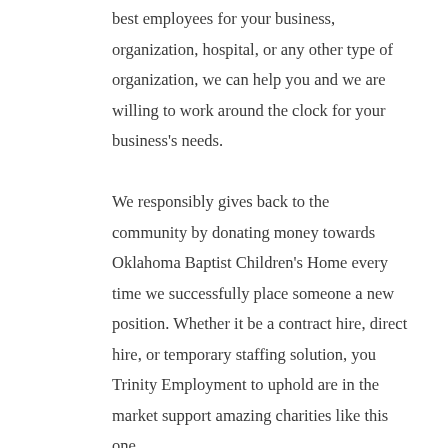best employees for your business, organization, hospital, or any other type of organization, we can help you and we are willing to work around the clock for your business's needs.

We responsibly gives back to the community by donating money towards Oklahoma Baptist Children's Home every time we successfully place someone a new position. Whether it be a contract hire, direct hire, or temporary staffing solution, you Trinity Employment to uphold are in the market support amazing charities like this one.